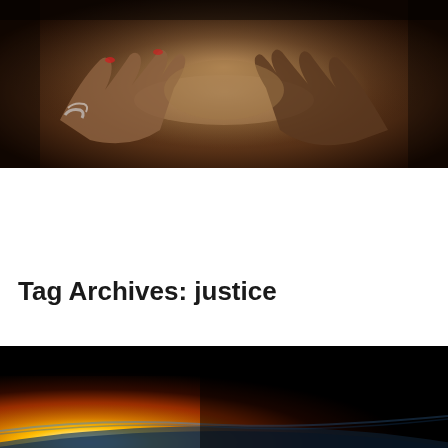[Figure (photo): Multiple hands of different skin tones reaching toward the center, forming a circular pattern. Some hands have bracelets and red nail polish visible.]
Caitlin Trussell
Tag Archives: justice
[Figure (photo): A dramatic view of Earth from space with a bright sunrise/sunburst visible at the horizon, showing the curvature of the planet against a dark space background. Orange and gold light radiates from the lower left.]